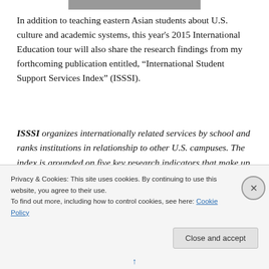[Figure (photo): Partial image visible at the top of the page (cropped)]
In addition to teaching eastern Asian students about U.S. culture and academic systems, this year's 2015 International Education tour will also share the research findings from my forthcoming publication entitled, “International Student Support Services Index” (ISSSI).
ISSSI organizes internationally related services by school and ranks institutions in relationship to other U.S. campuses. The index is grounded on five key research indicators that make up cross-cultural adjustment best
Privacy & Cookies: This site uses cookies. By continuing to use this website, you agree to their use.
To find out more, including how to control cookies, see here: Cookie Policy
Close and accept